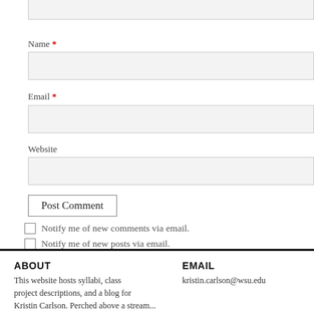Name *
Email *
Website
Post Comment
Notify me of new comments via email.
Notify me of new posts via email.
ABOUT
This website hosts syllabi, class project descriptions, and a blog for Kristin Carlson. Perched above a stream...
EMAIL
kristin.carlson@wsu.edu